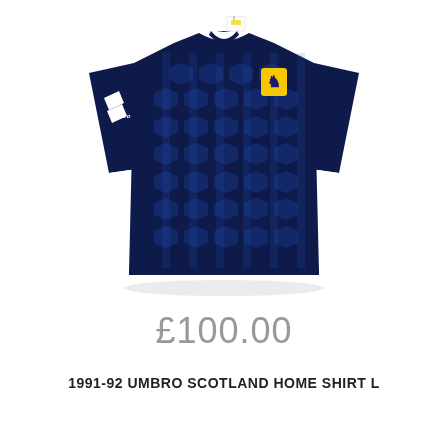[Figure (photo): A 1991-92 Umbro Scotland home football shirt in navy blue with blue geometric/diamond pattern, white collar and sleeve trim, Umbro logo on left sleeve, Scotland lion rampant crest badge on right chest in yellow, with hang tag visible at collar. Photographed flat on white background.]
£100.00
1991-92 UMBRO SCOTLAND HOME SHIRT L